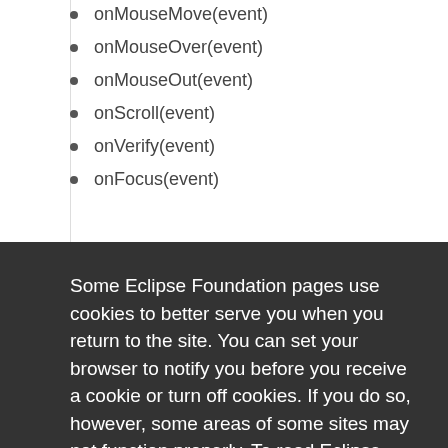onMouseMove(event)
onMouseOver(event)
onMouseOut(event)
onScroll(event)
onVerify(event)
onFocus(event)
Some Eclipse Foundation pages use cookies to better serve you when you return to the site. You can set your browser to notify you before you receive a cookie or turn off cookies. If you do so, however, some areas of some sites may not function properly. To read Eclipse Foundation Privacy Policy
click here.
Decline
Allow cookies
Example 1: A simple